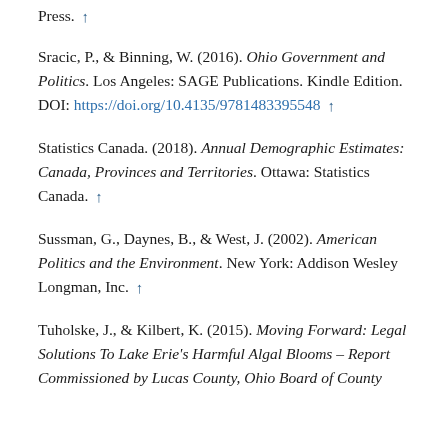Press. ↑ [partial, top of page]
Sracic, P., & Binning, W. (2016). Ohio Government and Politics. Los Angeles: SAGE Publications. Kindle Edition. DOI: https://doi.org/10.4135/9781483395548 ↑
Statistics Canada. (2018). Annual Demographic Estimates: Canada, Provinces and Territories. Ottawa: Statistics Canada. ↑
Sussman, G., Daynes, B., & West, J. (2002). American Politics and the Environment. New York: Addison Wesley Longman, Inc. ↑
Tuholske, J., & Kilbert, K. (2015). Moving Forward: Legal Solutions To Lake Erie's Harmful Algal Blooms – Report Commissioned by Lucas County, Ohio Board of County [continues]